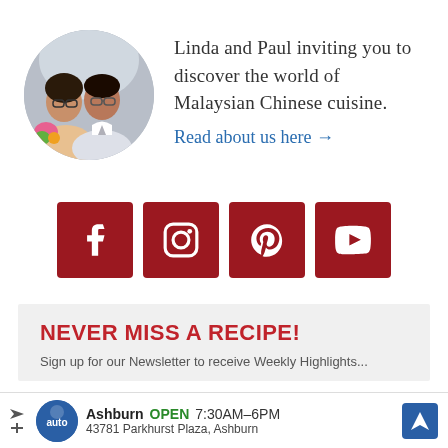[Figure (photo): Circular photo of a couple, Linda and Paul, smiling. Woman on the left with glasses, man on the right with glasses.]
Linda and Paul inviting you to discover the world of Malaysian Chinese cuisine.
Read about us here →
[Figure (infographic): Four dark red social media icon buttons: Facebook (f), Instagram (camera), Pinterest (P), YouTube (play button)]
NEVER MISS A RECIPE!
Sign up for our Newsletter to receive Weekly Highlights...
[Figure (infographic): Ad bar: Ashburn OPEN 7:30AM–6PM, 43781 Parkhurst Plaza, Ashburn, with auto service logo and navigation icon]